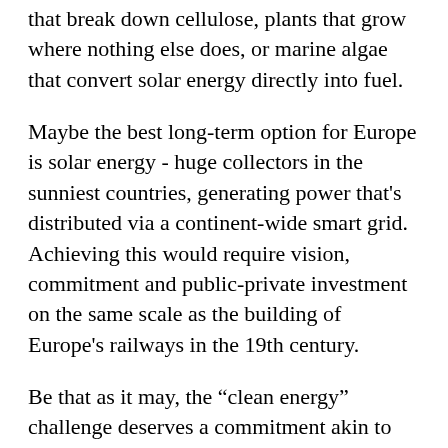that break down cellulose, plants that grow where nothing else does, or marine algae that convert solar energy directly into fuel.
Maybe the best long-term option for Europe is solar energy - huge collectors in the sunniest countries, generating power that's distributed via a continent-wide smart grid. Achieving this would require vision, commitment and public-private investment on the same scale as the building of Europe's railways in the 19th century.
Be that as it may, the “clean energy” challenge deserves a commitment akin to the Manhattan project or the Apollo moon landing. Indeed it would be hard to think of anything more likely to enthuse young people towards careers in engineering that a firmly-proclaimed priority to develop clean energy